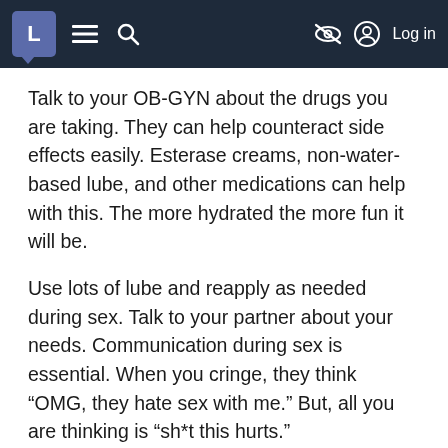L [menu] [search] [no-track] Log in
Talk to your OB-GYN about the drugs you are taking. They can help counteract side effects easily. Esterase creams, non-water-based lube, and other medications can help with this. The more hydrated the more fun it will be.
Use lots of lube and reapply as needed during sex. Talk to your partner about your needs. Communication during sex is essential. When you cringe, they think “OMG, they hate sex with me.” But, all you are thinking is “sh*t this hurts.”